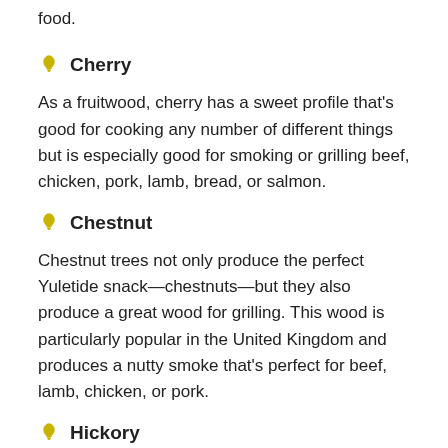food.
Cherry
As a fruitwood, cherry has a sweet profile that's good for cooking any number of different things but is especially good for smoking or grilling beef, chicken, pork, lamb, bread, or salmon.
Chestnut
Chestnut trees not only produce the perfect Yuletide snack—chestnuts—but they also produce a great wood for grilling. This wood is particularly popular in the United Kingdom and produces a nutty smoke that's perfect for beef, lamb, chicken, or pork.
Hickory